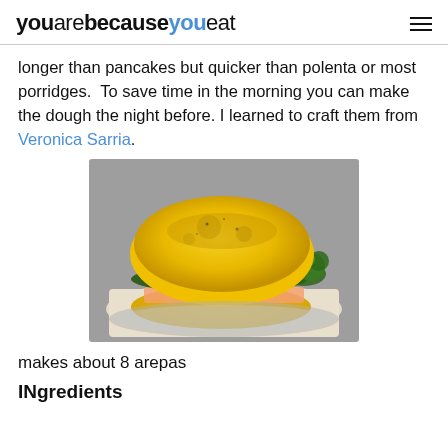youarebecauseyoueat
longer than pancakes but quicker than polenta or most porridges.  To save time in the morning you can make the dough the night before. I learned to craft them from Veronica Sarria.
[Figure (photo): A corn arepa sandwich filled with dark greens (kale/broccoli) and salmon/tomato on a silver plate with parchment paper]
makes about 8 arepas
INgredients